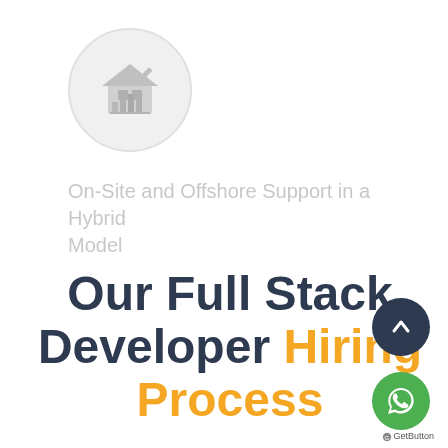[Figure (logo): Circular logo with light gray background showing a building/house icon with chart symbol]
On-Site and Offshore Support in a Hybrid Model
Our Full Stack Developer Hiring Process
[Figure (illustration): Dark navy circle with white upward arrow - scroll to top button]
[Figure (illustration): Green circle with white WhatsApp phone icon]
GetButton